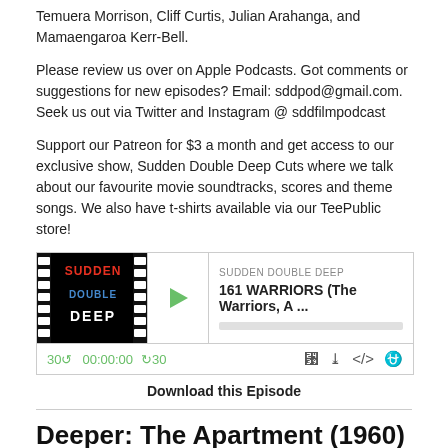Temuera Morrison, Cliff Curtis, Julian Arahanga, and Mamaengaroa Kerr-Bell.
Please review us over on Apple Podcasts. Got comments or suggestions for new episodes? Email: sddpod@gmail.com. Seek us out via Twitter and Instagram @ sddfilmpodcast
Support our Patreon for $3 a month and get access to our exclusive show, Sudden Double Deep Cuts where we talk about our favourite movie soundtracks, scores and theme songs. We also have t-shirts available via our TeePublic store!
[Figure (screenshot): Podcast player widget for Sudden Double Deep, episode '161 WARRIORS (The Warriors, A ...' showing play button, progress bar, time 00:00:00, and playback controls]
Download this Episode
Deeper: The Apartment (1960)
Aug 25, 2022
This episode was selected by our awesome Patreon supporter, David B. You can find him on Twitter (@MrSpiderClown).